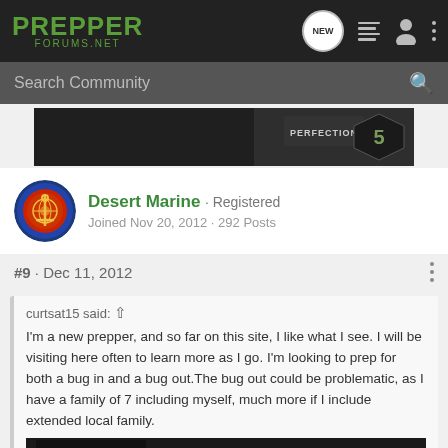PREPPER FORUMS.NET
Search Community
[Figure (photo): Dark advertisement banner showing a firearm with text PERFECTION and a number 5 badge]
Desert Marine · Registered
Joined Nov 20, 2012 · 292 Posts
#9 · Dec 11, 2012
curtsat15 said: ↑
I'm a new prepper, and so far on this site, I like what I see. I will be visiting here often to learn more as I go. I'm looking to prep for both a bug in and a bug out.The bug out could be problematic, as I have a family of 7 including myself, much more if I include extended local family.
[Figure (photo): Dark advertisement with woman holding rifle, text: DEFENDING YOUR FAMILY. DEFENDING YOUR HOME.]
Welcom... ...back